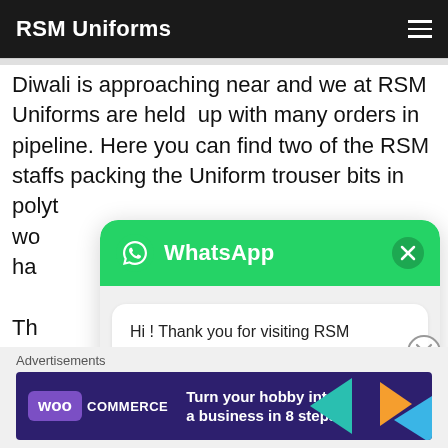RSM Uniforms
Diwali is approaching near and we at RSM Uniforms are held  up with many orders in pipeline. Here you can find two of the RSM staffs packing the Uniform trouser bits in polyt... wo... ha...
[Figure (screenshot): WhatsApp chat widget overlay with green header showing WhatsApp logo and title, and a white bubble message: 'Hi ! Thank you for visiting RSM Uniforms. Have an query for uniform? Feel free to ask us.']
Advertisements
[Figure (screenshot): WooCommerce advertisement banner: 'Turn your hobby into a business in 8 steps']